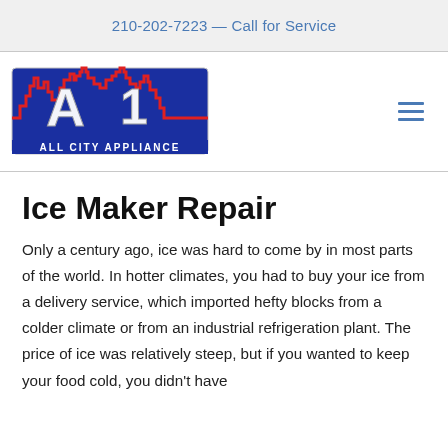210-202-7223 — Call for Service
[Figure (logo): All City Appliance logo: A1 letters in silver/chrome style with blue cityscape silhouette background outlined in red, text 'ALL CITY APPLIANCE' at bottom in white on blue.]
Ice Maker Repair
Only a century ago, ice was hard to come by in most parts of the world. In hotter climates, you had to buy your ice from a delivery service, which imported hefty blocks from a colder climate or from an industrial refrigeration plant. The price of ice was relatively steep, but if you wanted to keep your food cold, you didn't have